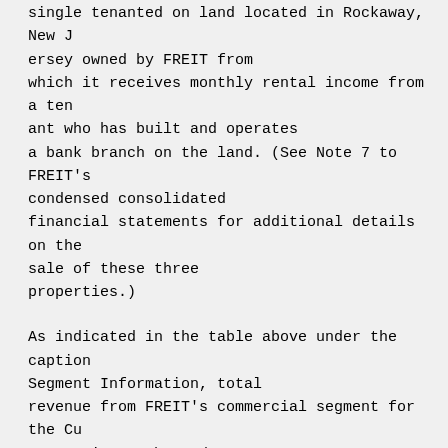single tenanted on land located in Rockaway, New Jersey owned by FREIT from which it receives monthly rental income from a tenant who has built and operates a bank branch on the land. (See Note 7 to FREIT's condensed consolidated financial statements for additional details on the sale of these three properties.)
As indicated in the table above under the caption Segment Information, total revenue from FREIT's commercial segment for the Current Six Months and Current Quarter decreased by 49.5% and 67.9%, respectively, and NOI decreased by 64.5% and 75.3%, respectively, as compared to the Prior Year's comparable periods.